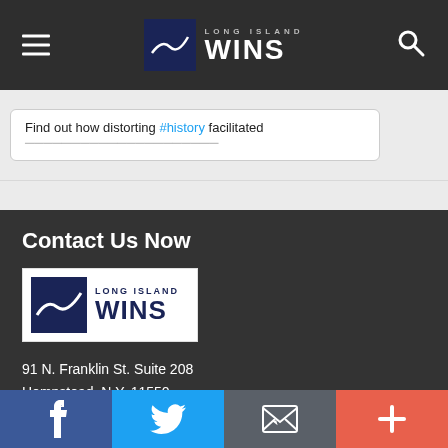Long Island WINS navigation bar with hamburger menu and search icon
Find out how distorting #history facilitated
Contact Us Now
[Figure (logo): Long Island WINS logo - dark blue square with map outline and LONG ISLAND WINS text]
91 N. Franklin St. Suite 208
Hempstead, N.Y. 11550
Phone: (516) 864-0786
Email: longislandwins@gmail.com
Social share bar: Facebook, Twitter, Email, More